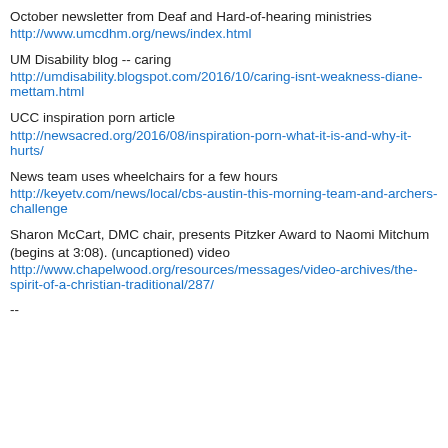October newsletter from Deaf and Hard-of-hearing ministries
http://www.umcdhm.org/news/index.html
UM Disability blog -- caring
http://umdisability.blogspot.com/2016/10/caring-isnt-weakness-diane-mettam.html
UCC inspiration porn article
http://newsacred.org/2016/08/inspiration-porn-what-it-is-and-why-it-hurts/
News team uses wheelchairs for a few hours
http://keyetv.com/news/local/cbs-austin-this-morning-team-and-archers-challenge
Sharon McCart, DMC chair, presents Pitzker Award to Naomi Mitchum (begins at 3:08). (uncaptioned) video
http://www.chapelwood.org/resources/messages/video-archives/the-spirit-of-a-christian-traditional/287/
--